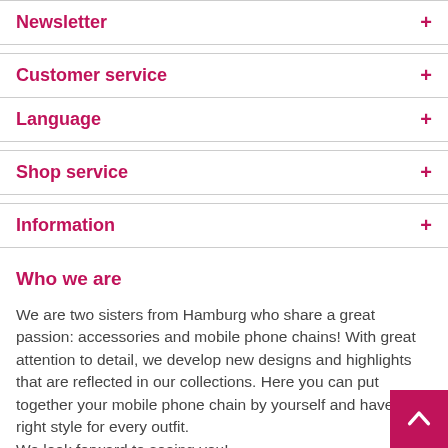Newsletter
Customer service
Language
Shop service
Information
Who we are
We are two sisters from Hamburg who share a great passion: accessories and mobile phone chains! With great attention to detail, we develop new designs and highlights that are reflected in our collections. Here you can put together your mobile phone chain by yourself and have the right style for every outfit.
We look forward to seeing you!